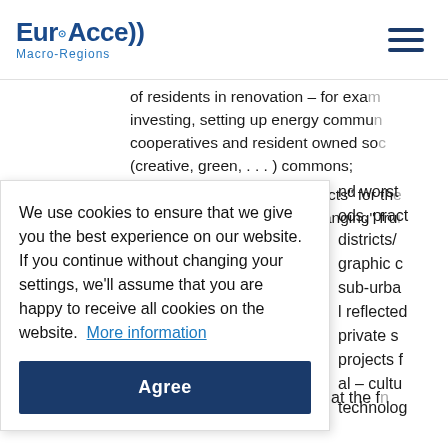EuroAccess Macro-Regions
of residents in renovation – for example investing, setting up energy communities, cooperatives and resident owned social (creative, green, . . . ) commons;
Identify "ready to go projects" for the districts as well as "low hanging" fruit
nd worst ods, pract districts/ graphic c sub-urba l reflected private s projects f al – cultu technolog inclusion and social progress at the f Pilot land...
We use cookies to ensure that we give you the best experience on our website. If you continue without changing your settings, we'll assume that you are happy to receive all cookies on the website. More information
Agree